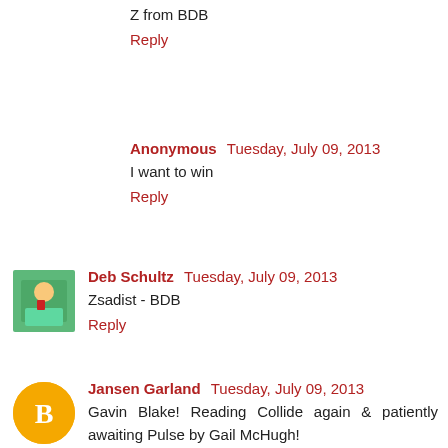Z from BDB
Reply
Anonymous  Tuesday, July 09, 2013
I want to win
Reply
Deb Schultz  Tuesday, July 09, 2013
Zsadist - BDB
Reply
Jansen Garland  Tuesday, July 09, 2013
Gavin Blake! Reading Collide again & patiently awaiting Pulse by Gail McHugh!
Reply